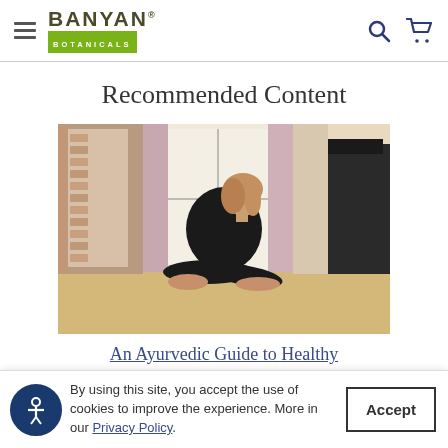Banyan Botanicals
Recommended Content
[Figure (photo): A woman in black athletic wear sitting on a wooden floor in a yoga pose, facing sideways, in a room with curtains and brick wall visible.]
An Ayurvedic Guide to Healthy
By using this site, you accept the use of cookies to improve the experience. More in our Privacy Policy.